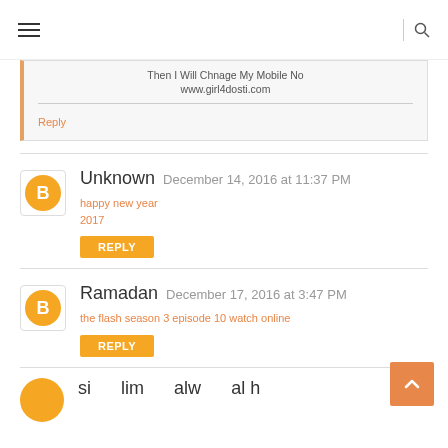Navigation bar with hamburger menu and search icon
Then I Will Chnage My Mobile No
www.girl4dosti.com
Reply
Unknown
December 14, 2016 at 11:37 PM
happy new year 2017
REPLY
Ramadan
December 17, 2016 at 3:47 PM
the flash season 3 episode 10 watch online
REPLY